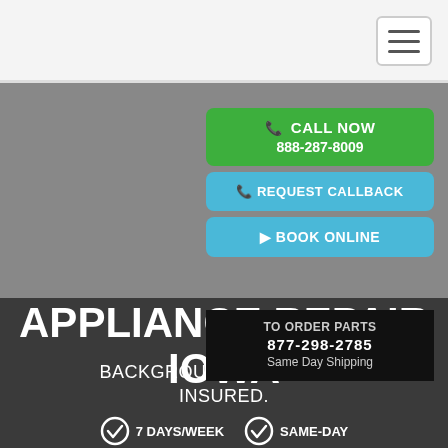Navigation header with hamburger menu
CALL NOW 888-287-8009
REQUEST CALLBACK
BOOK ONLINE
TO ORDER PARTS 877-298-2785 Same Day Shipping
APPLIANCE REPAIR IOWA
BACKGROUND CHECKED & INSURED.
7 DAYS/WEEK    SAME-DAY